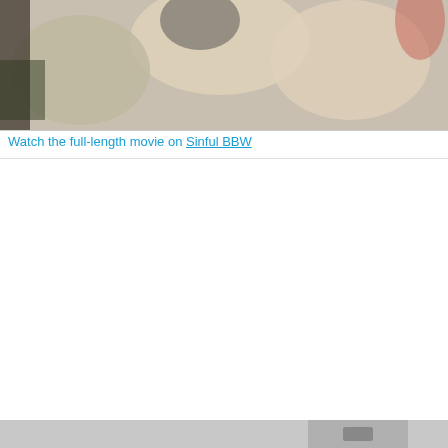[Figure (photo): Cropped photo showing a person on a light-colored leather couch, partial body view from above]
Watch the full-length movie on Sinful BBW
[Figure (screenshot): Live chat widget popup with teal header reading Kristin_Kavallari's LIVE CHAT with mute and close icons, black video/chat body area below]